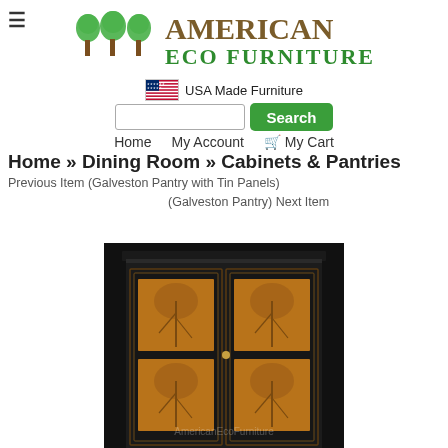[Figure (logo): American Eco Furniture logo with three green trees and brown/green text]
USA Made Furniture
Search
Home   My Account   My Cart
Home » Dining Room » Cabinets & Pantries
Previous Item (Galveston Pantry with Tin Panels)
(Galveston Pantry) Next Item
[Figure (photo): Dark wooden cabinet with two doors featuring copper/tin panels with willow tree designs, shown against black background with AmericanEcoFurniture watermark]